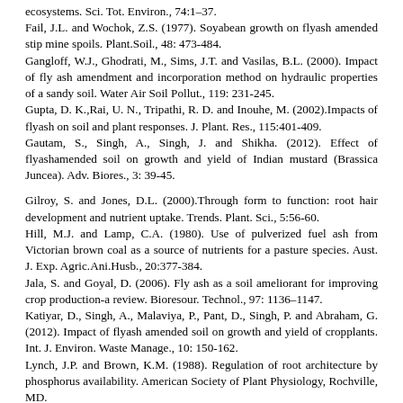ecosystems. Sci. Tot. Environ., 74:1–37.
Fail, J.L. and Wochok, Z.S. (1977). Soyabean growth on flyash amended stip mine spoils. Plant.Soil., 48: 473-484.
Gangloff, W.J., Ghodrati, M., Sims, J.T. and Vasilas, B.L. (2000). Impact of fly ash amendment and incorporation method on hydraulic properties of a sandy soil. Water Air Soil Pollut., 119: 231-245.
Gupta, D. K.,Rai, U. N., Tripathi, R. D. and Inouhe, M. (2002).Impacts of flyash on soil and plant responses. J. Plant. Res., 115:401-409.
Gautam, S., Singh, A., Singh, J. and Shikha. (2012). Effect of flyashamended soil on growth and yield of Indian mustard (Brassica Juncea). Adv. Biores., 3: 39-45.
Gilroy, S. and Jones, D.L. (2000).Through form to function: root hair development and nutrient uptake. Trends. Plant. Sci., 5:56-60.
Hill, M.J. and Lamp, C.A. (1980). Use of pulverized fuel ash from Victorian brown coal as a source of nutrients for a pasture species. Aust. J. Exp. Agric.Ani.Husb., 20:377-384.
Jala, S. and Goyal, D. (2006). Fly ash as a soil ameliorant for improving crop production-a review. Bioresour. Technol., 97: 1136–1147.
Katiyar, D., Singh, A., Malaviya, P., Pant, D., Singh, P. and Abraham, G. (2012). Impact of flyash amended soil on growth and yield of cropplants. Int. J. Environ. Waste Manage., 10: 150-162.
Lynch, J.P. and Brown, K.M. (1988). Regulation of root architecture by phosphorus availability. American Society of Plant Physiology, Rochville, MD.
Mahale, N.K., Patil, S.D., Sarode, D.B. and Attarde, S.B. (2012). Effect of flyash as an admixture in agriculture and the study of heavy metal accumulation in wheat (Triticum aestivum L.), mung bean (Vigna radiata L.)